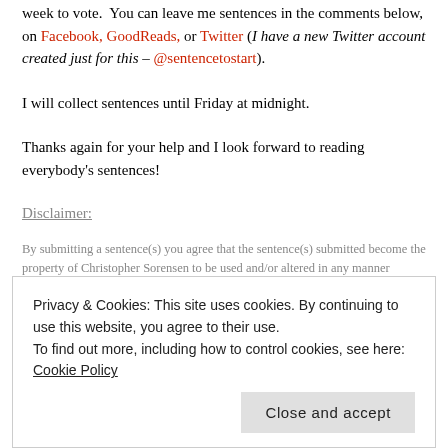week to vote.  You can leave me sentences in the comments below, on Facebook, GoodReads, or Twitter (I have a new Twitter account created just for this – @sentencetostart).
I will collect sentences until Friday at midnight.
Thanks again for your help and I look forward to reading everybody's sentences!
Disclaimer:
By submitting a sentence(s) you agree that the sentence(s) submitted become the property of Christopher Sorensen to be used and/or altered in any manner whatsoever.  You also
Privacy & Cookies: This site uses cookies. By continuing to use this website, you agree to their use.
To find out more, including how to control cookies, see here: Cookie Policy
Close and accept